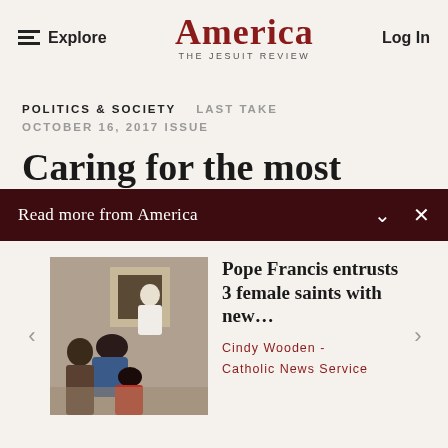Explore | America The Jesuit Review | Log In
POLITICS & SOCIETY  LAST TAKE
OCTOBER 16, 2017 ISSUE
Caring for the most
Read more from America
[Figure (photo): Pope Francis meeting with a group of people in a room, a man with a blue jacket and woman with red clothing visible from behind, Pope in white robes leaning forward]
Pope Francis entrusts 3 female saints with new…
Cindy Wooden - Catholic News Service